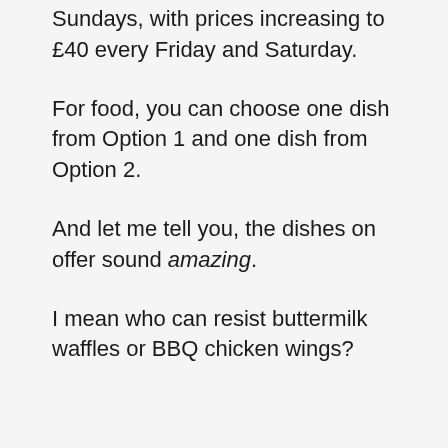Sundays, with prices increasing to £40 every Friday and Saturday.
For food, you can choose one dish from Option 1 and one dish from Option 2.
And let me tell you, the dishes on offer sound amazing.
I mean who can resist buttermilk waffles or BBQ chicken wings?